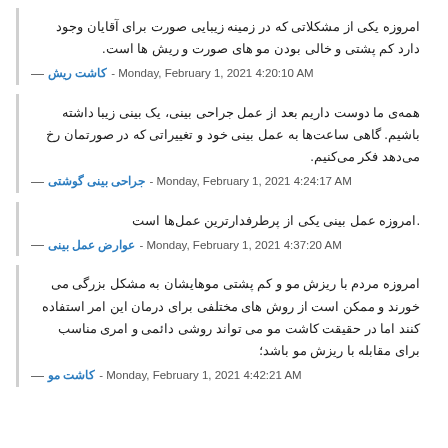امروزه یکی از مشکلاتی که در زمینه زیبایی صورت برای آقایان وجود دارد کم پشتی و خالی بودن مو های صورت و ریش ها است.
— کاشت ریش - Monday, February 1, 2021 4:20:10 AM
همه‌ی ما دوست داریم بعد از عمل جراحی بینی، یک بینی زیبا داشته باشیم. گاهی ساعت‌ها به عمل بینی خود و تغییراتی که در صورتمان رخ می‌دهد فکر می‌کنیم.
— جراحی بینی گوشتی - Monday, February 1, 2021 4:24:17 AM
امروزه عمل بینی یکی از پرطرفدارترین عمل‌ها است.
— عوارض عمل بینی - Monday, February 1, 2021 4:37:20 AM
امروزه مردم با ریزش مو و کم پشتی موهایشان به مشکل بزرگی می خورند و ممکن است از روش های مختلفی برای درمان این امر استفاده کنند اما در حقیقت کاشت مو می تواند روشی دائمی و امری مناسب برای مقابله با ریزش مو باشد؛
— کاشت مو - Monday, February 1, 2021 4:42:21 AM